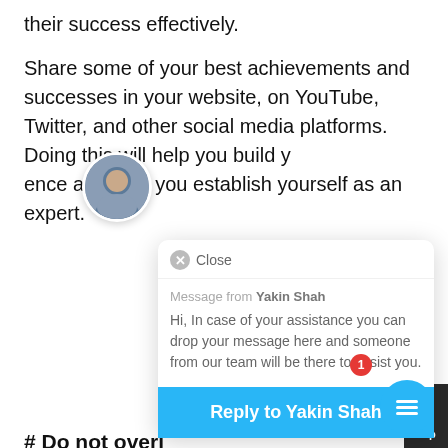their success effectively.
Share some of your best achievements and successes in your website, on YouTube, Twitter, and other social media platforms. Doing this will help you build y...ence and help you establish yourself as an expert.
[Figure (screenshot): Chat popup widget with avatar photo of Yakin Shah, a close button, a message reading 'Hi, In case of your assistance you can drop your message here and someone from our team will be there to assist you.', and a blue 'Reply to Yakin Shah' button. A circular chat FAB button with a badge showing '1' is visible at the bottom right.]
# Do not overl...
The majority of... neglect email signatures. Imagine you are using your smartphone for sending the first email... client, explaining your services and how your...